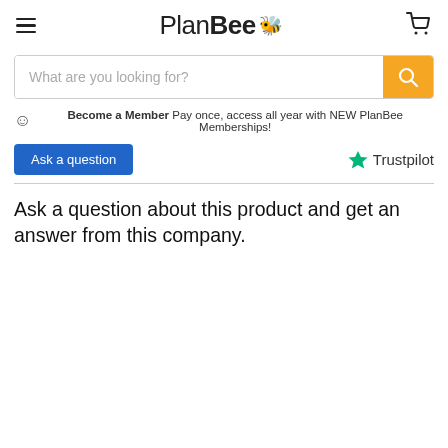PlanBee
What are you looking for?
Become a Member Pay once, access all year with NEW PlanBee Memberships!
Ask a question
Trustpilot
Ask a question about this product and get an answer from this company.